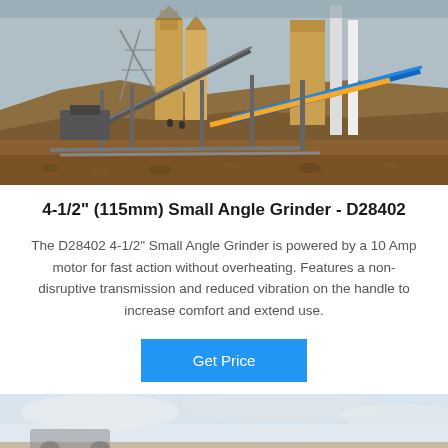[Figure (photo): Industrial mining/crushing plant facility with large machinery, conveyor belts, silos, scaffolding, and a hillside in the background]
4-1/2" (115mm) Small Angle Grinder - D28402
The D28402 4-1/2" Small Angle Grinder is powered by a 10 Amp motor for fast action without overheating. Features a non-disruptive transmission and reduced vibration on the handle to increase comfort and extend use.
Get Price
[Figure (photo): Partial photo, bottom of page — appears to show a landscape or outdoor scene, cut off]